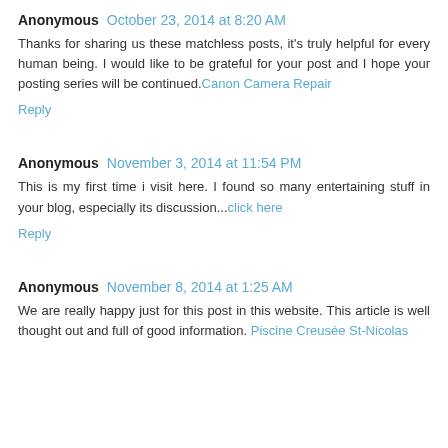Anonymous October 23, 2014 at 8:20 AM
Thanks for sharing us these matchless posts, it's truly helpful for every human being. I would like to be grateful for your post and I hope your posting series will be continued.Canon Camera Repair
Reply
Anonymous November 3, 2014 at 11:54 PM
This is my first time i visit here. I found so many entertaining stuff in your blog, especially its discussion...click here
Reply
Anonymous November 8, 2014 at 1:25 AM
We are really happy just for this post in this website. This article is well thought out and full of good information. Piscine Creusée St-Nicolas